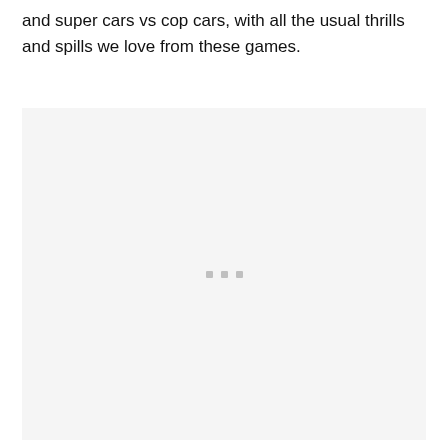and super cars vs cop cars, with all the usual thrills and spills we love from these games.
[Figure (other): A large light gray placeholder image area with three small gray squares centered near the lower middle portion of the box, indicating a loading or missing image state.]